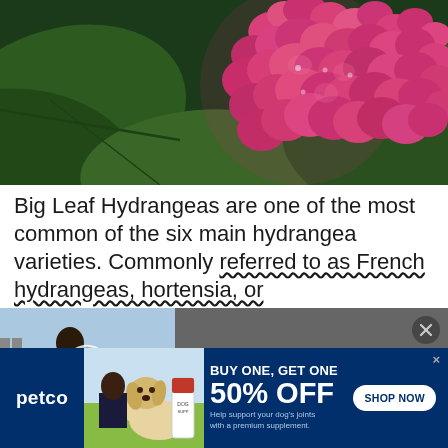[Figure (photo): Close-up of a bright pink hydrangea bloom with large green leaves in background]
Big Leaf Hydrangeas are one of the most common of the six main hydrangea varieties. Commonly referred to as French hydrangeas, hortensia, or
[Figure (screenshot): Video overlay showing a woman gardening with a play button, titled 'How to Start a Hanging Basket Flower Garden']
[Figure (infographic): Petco advertisement: BUY ONE, GET ONE 50% OFF. Help support your dog's joints with a premium supplement. SHOP NOW button.]